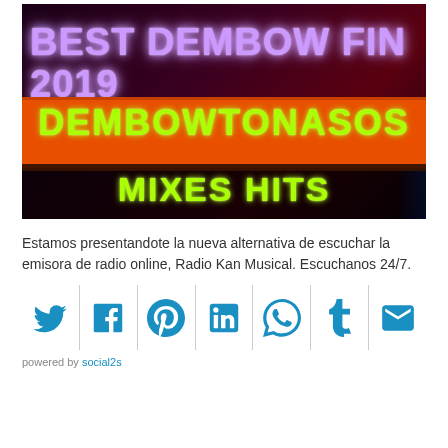[Figure (photo): Thumbnail image with dark background and text: BEST DEMBOW FIN 2019 at top in purple neon, DEMBOWTONASOS in green on orange bar, MIXES HITS in green on dark bar]
Estamos presentandote la nueva alternativa de escuchar la emisora de radio online, Radio Kan Musical. Escuchanos 24/7.
[Figure (infographic): Social share icons row: Twitter, Facebook, Pinterest, LinkedIn, WhatsApp, Tumblr, Email — all in blue, separated by vertical lines]
powered by social2s